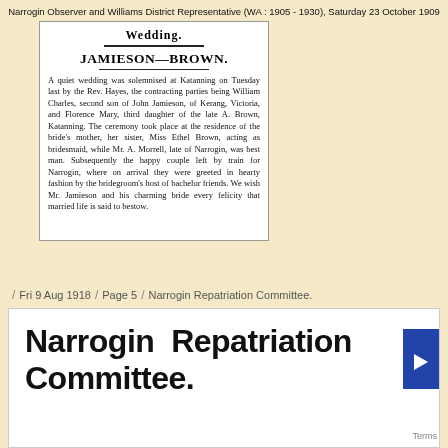Narrogin Observer and Williams District Representative (WA : 1905 - 1930), Saturday 23 October 1909
Wedding.
JAMIESON—BROWN.
A quiet wedding was solemnised at Katanning on Tuesday last by the Rev. Hayes, the contracting parties being William Charles, second son of John Jamieson, of Kerang, Victoria, and Florence Mary, third daughter of the late A. Brown, Katanning. The ceremony took place at the residence of the bride's mother, her sister, Miss Ethel Brown, acting as bridesmaid, while Mr. A. Morrell, late of Narrogin, was best man. Subsequently the happy couple left by train for Narrogin, where on arrival they were greeted in hearty fashion by the bridegroom's host of bachelor friends. We wish Mr. Jamieson and his charming bride every felicity that married life is said to bestow.
/ Fri 9 Aug 1918 / Page 5 / Narrogin Repatriation Committee.
Narrogin Repatriation Committee.